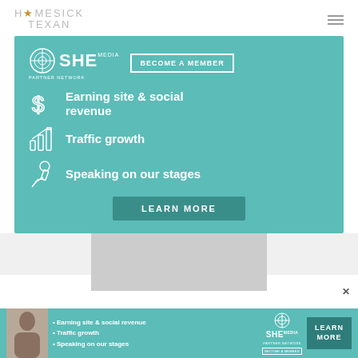HOMESICK TEXAN
[Figure (infographic): SHE Media Partner Network advertisement banner on teal background. Shows SHE Media logo, 'BECOME A MEMBER' button, three bullet points with icons: 'Earning site & social revenue', 'Traffic growth', 'Speaking on our stages', and a 'LEARN MORE' button.]
[Figure (infographic): Bottom banner ad for SHE Media Partner Network with a photo of a woman, bullet points listing earning site & social revenue, traffic growth, speaking on our stages, SHE logo, become a member text, and a learn more button. X close button visible.]